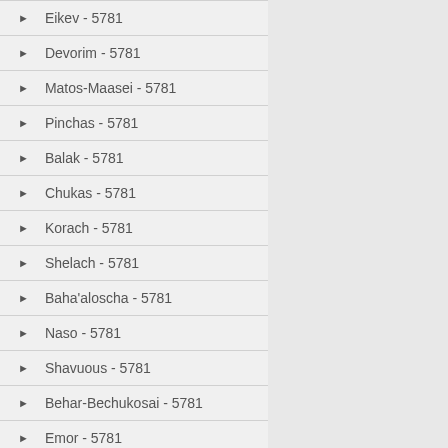Eikev - 5781
Devorim - 5781
Matos-Maasei - 5781
Pinchas - 5781
Balak - 5781
Chukas - 5781
Korach - 5781
Shelach - 5781
Baha'aloscha - 5781
Naso - 5781
Shavuous - 5781
Behar-Bechukosai - 5781
Emor - 5781